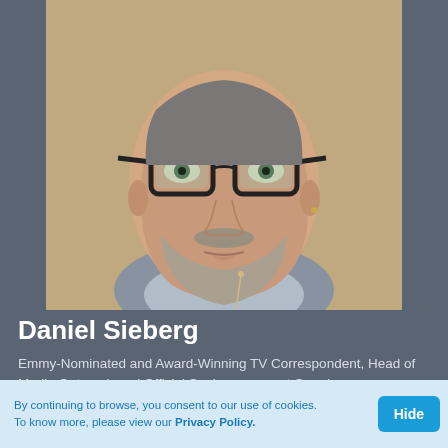[Figure (photo): Headshot photo of Daniel Sieberg, a middle-aged man with glasses, salt-and-pepper beard, wearing a suit with a lapel microphone, looking upward against a blurred background.]
Daniel Sieberg
Emmy-Nominated and Award-Winning TV Correspondent, Head of Media Outreach and Official Spokesperson at Google
Fee Range: $15,001 – $20,000
Inquire About Virtual Fees
By continuing to browse, you consent to our use of cookies. To know more, please view our Privacy Policy.